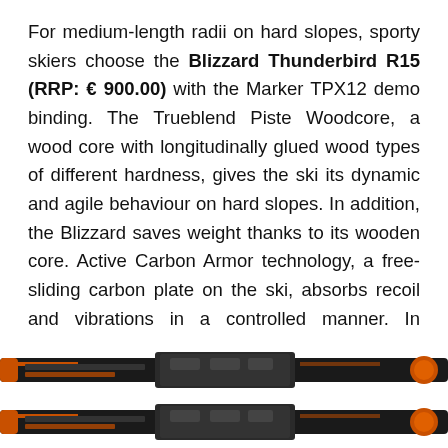For medium-length radii on hard slopes, sporty skiers choose the Blizzard Thunderbird R15 (RRP: € 900.00) with the Marker TPX12 demo binding. The Trueblend Piste Woodcore, a wood core with longitudinally glued wood types of different hardness, gives the ski its dynamic and agile behaviour on hard slopes. In addition, the Blizzard saves weight thanks to its wooden core. Active Carbon Armor technology, a free-sliding carbon plate on the ski, absorbs recoil and vibrations in a controlled manner. In addition, the Thunderbird R15 convinces with its durability and value.
[Figure (photo): Two Blizzard Thunderbird R15 skis shown horizontally, black with orange accents, one above the other, with Marker TPX12 demo bindings visible.]